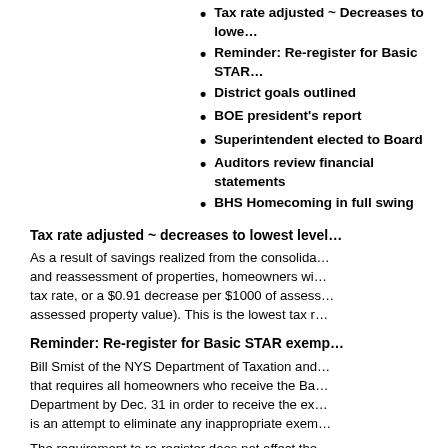Tax rate adjusted ~ Decreases to lowe…
Reminder: Re-register for Basic STAR…
District goals outlined
BOE president's report
Superintendent elected to Board
Auditors review financial statements
BHS Homecoming in full swing
Tax rate adjusted ~ decreases to lowest level…
As a result of savings realized from the consolida… and reassessment of properties, homeowners wi… tax rate, or a $0.91 decrease per $1000 of assess… assessed property value). This is the lowest tax r…
Reminder: Re-register for Basic STAR exemp…
Bill Smist of the NYS Department of Taxation and… that requires all homeowners who receive the Ba… Department by Dec. 31 in order to receive the ex… is an attempt to eliminate any inappropriate exem…
The requirement to re-register does not affect the… exemption. The process for Enhanced STAR has…
Homeowners currently enrolled in Basic STAR ha… requirement. That letter of notification included in… process, but residents are able to register ev…